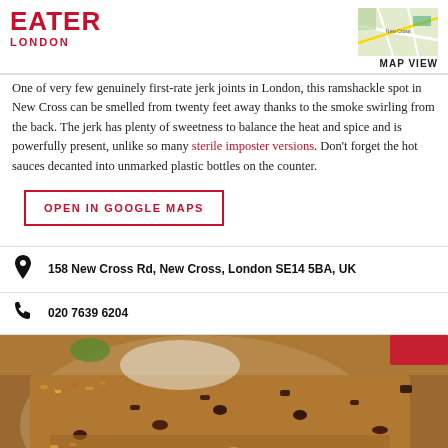EATER LONDON
[Figure (map): Small map thumbnail in top right corner with MAP VIEW label]
One of very few genuinely first-rate jerk joints in London, this ramshackle spot in New Cross can be smelled from twenty feet away thanks to the smoke swirling from the back. The jerk has plenty of sweetness to balance the heat and spice and is powerfully present, unlike so many sterile imposter versions. Don’t forget the hot sauces decanted into unmarked plastic bottles on the counter.
OPEN IN GOOGLE MAPS
158 New Cross Rd, New Cross, London SE14 5BA, UK
020 7639 6204
[Figure (photo): Close-up photo of jerk rice and beans dish on a white plate]